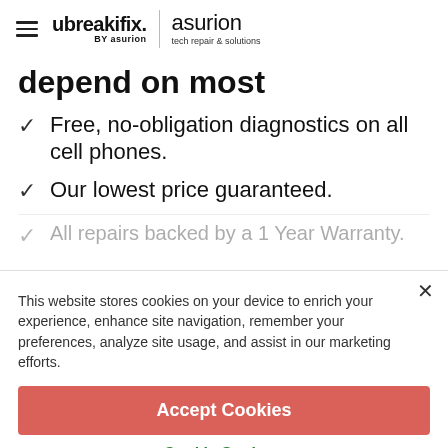[Figure (logo): ubreakifix by asurion logo with hamburger menu icon and asurion tech repair & solutions logo]
depend on most
Free, no-obligation diagnostics on all cell phones.
Our lowest price guaranteed.
All repairs backed by a 1 Year Warranty.
This website stores cookies on your device to enrich your experience, enhance site navigation, remember your preferences, analyze site usage, and assist in our marketing efforts.
Accept Cookies
Cookie Settings